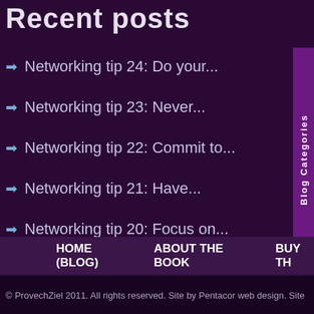Recent posts
Networking tip 24: Do your...
Networking tip 23: Never...
Networking tip 22: Commit to...
Networking tip 21: Have...
Networking tip 20: Focus on...
Conta
Your na
Your e-
Subject: *
Send e
[Figure (screenshot): Blog Categories sidebar tab on right edge]
[Figure (screenshot): Blog Archives sidebar tab on right edge]
HOME (BLOG)   ABOUT THE BOOK   BUY TH
© ProvechZiel 2011. All rights reserved. Site by Pentacor web design. Site